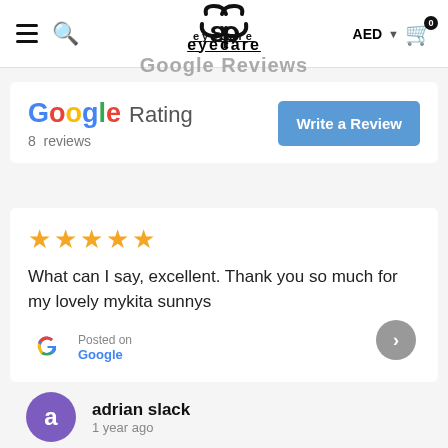eyecare navigation bar with hamburger menu, search, logo, AED currency, cart
Google Reviews
Google Rating  8 reviews  Write a Review
★★★★★ What can I say, excellent. Thank you so much for my lovely mykita sunnys  Posted on Google
adrian slack  1 year ago